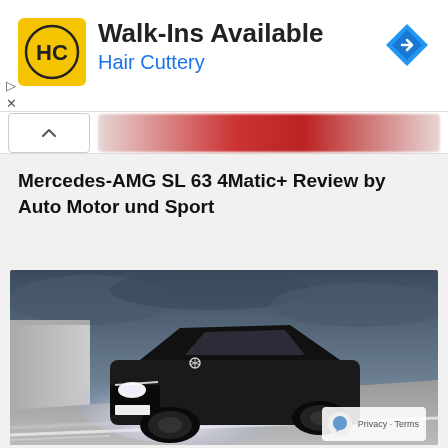[Figure (infographic): Hair Cuttery advertisement banner with yellow logo showing HC initials, Walk-Ins Available headline, blue navigation arrow icon on right]
Mercedes-AMG SL 63 4Matic+ Review by Auto Motor und Sport
[Figure (photo): Mercedes-AMG SL 63 sports car driving at night with headlights on, dramatic stormy sky background, motion blur effect on road]